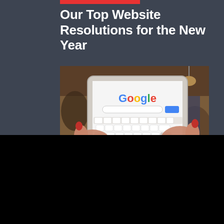Our Top Website Resolutions for the New Year
[Figure (photo): Person holding a tablet displaying Google search page with keyboard visible, in a café/store background]
We use cookies on our website to give you the most relevant experience by remembering your preferences and repeat visits. By clicking "Accept", you consent to the use of ALL the cookies.
Cookie settings   ACCEPT